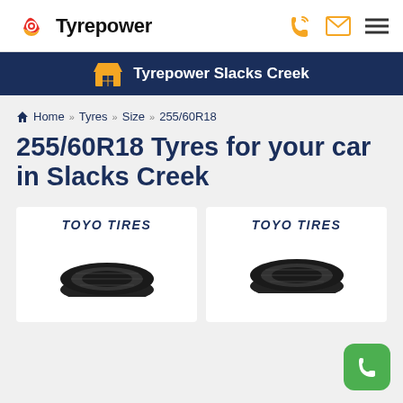Tyrepower
Tyrepower Slacks Creek
Home >> Tyres >> Size >> 255/60R18
255/60R18 Tyres for your car in Slacks Creek
[Figure (logo): TOYO TIRES logo with tyre product card left]
[Figure (logo): TOYO TIRES logo with tyre product card right]